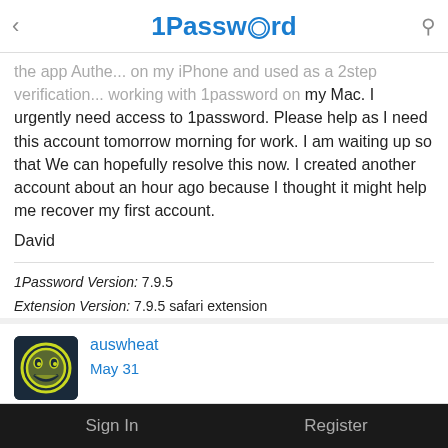1Password
the app Authe... on my iPhone and used as a 2step verification... working with 1password on my Mac. I urgently need access to 1password. Please help as I need this account tomorrow morning for work. I am waiting up so that We can hopefully resolve this now. I created another account about an hour ago because I thought it might help me recover my first account.

David
1Password Version: 7.9.5
Extension Version: 7.9.5 safari extension
OS Version: Macos 12.4
auswheat
May 31

I figured it out. Bye
Sign In    Register